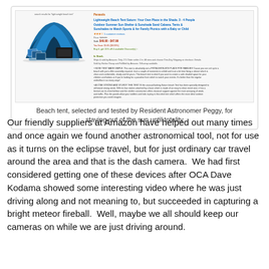[Figure (screenshot): Amazon product listing screenshot for a Lightweight Beach Tent Saturn, showing product image of a blue beach tent, product title, price, rating, and description bullets.]
Beach tent, selected and tested by Resident Astronomer Peggy, for staying out of the sun until totality
Our friendly suppliers at Amazon have helped out many times and once again we found another astronomical tool, not for use as it turns on the eclipse travel, but for just ordinary car travel around the area and that is the dash camera.  We had first considered getting one of these devices after OCA Dave Kodama showed some interesting video where he was just driving along and not meaning to, but succeeded in capturing a bright meteor fireball.  Well, maybe we all should keep our cameras on while we are just driving around.